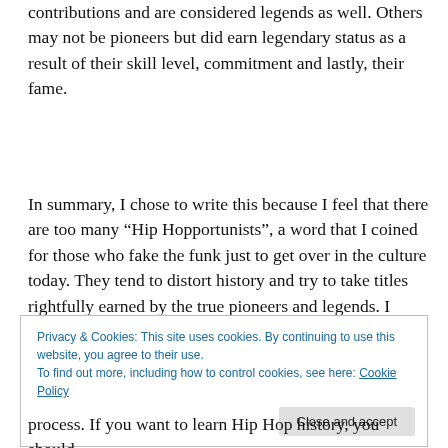contributions and are considered legends as well. Others may not be pioneers but did earn legendary status as a result of their skill level, commitment and lastly, their fame.
In summary, I chose to write this because I feel that there are too many “Hip Hopportunists”, a word that I coined for those who fake the funk just to get over in the culture today. They tend to distort history and try to take titles rightfully earned by the true pioneers and legends. I never considered myself a pioneer or legend until my mentors, teachers and elders bestowed upon me these honorable
Privacy & Cookies: This site uses cookies. By continuing to use this website, you agree to their use.
To find out more, including how to control cookies, see here: Cookie Policy
process. If you want to learn Hip Hop history, you should